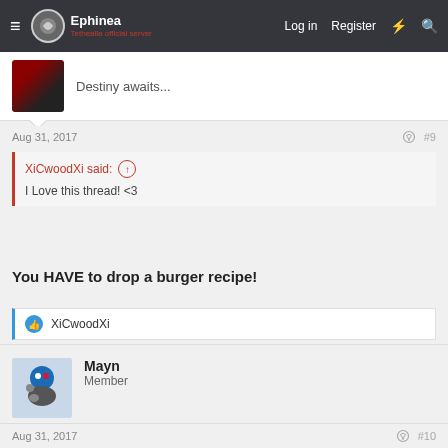Ephinea — Log in | Register
Destiny awaits...
Aug 31, 2017  #9
XiCwoodXi said: ↑
I Love this thread! <3
You HAVE to drop a burger recipe!
XiCwoodXi
Mayn
Member
Aug 31, 2017  #10